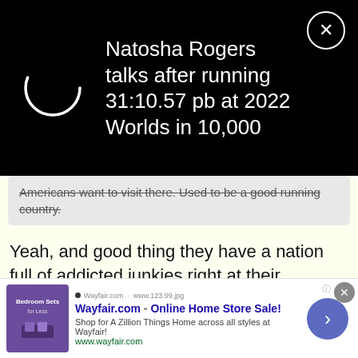[Figure (screenshot): Notification bar showing: 'Natosha Rogers talks after running 31:10.57 pb at 2022 Worlds in 10,000' with a circular loading icon on left and close X button on right, on black background]
Americans want to visit there. Used to be a good running country.
Yeah, and good thing they have a nation full of addicted junkies right at their backdoor to export all their stuff too. US kids start medicating themselves from an early age and keep it up throughout their lives. No other group of people on earth who consume as many drugs 'recreationally.' Drug producers all over the globe love yanks!
[Figure (screenshot): Advertisement banner for Wayfair.com - Online Home Store Sale! with purple bedroom image, Wayfair logo, and arrow navigation button]